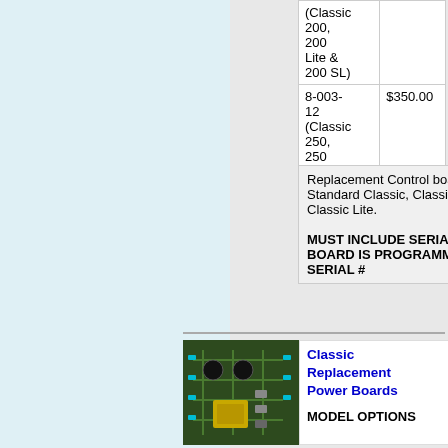| Part# | Price |
| --- | --- |
| (Classic 200, 200 Lite & 200 SL) |  |
| 8-003-12 (Classic 250, 250 Lite & 250 SL) | $350.00 |
Replacement Control board for the Standard Classic, Classic-SL and the Classic Lite. MUST INCLUDE SERIAL# SO NEW BOARD IS PROGRAMMED WITH YOUR SERIAL #
[Figure (photo): Circuit board photo showing a green PCB with electronic components]
Classic Replacement Power Boards
$470.00
MODEL OPTIONS